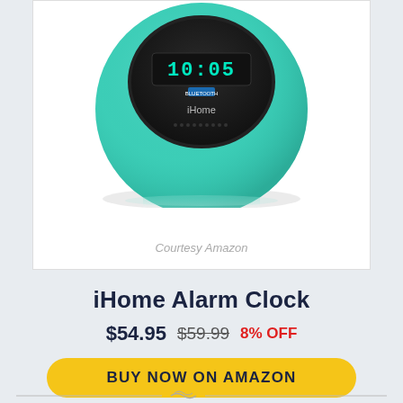[Figure (photo): iHome alarm clock with teal/mint colored spherical body and black face showing digital display, photographed on white background]
Courtesy Amazon
iHome Alarm Clock
$54.95  $59.99  8% OFF
BUY NOW ON AMAZON